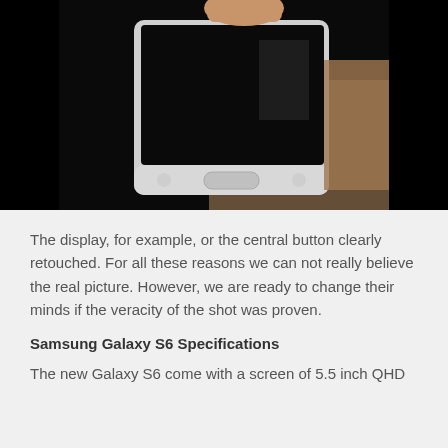[Figure (photo): A hand holding a Samsung smartphone (likely Galaxy S6 prototype) photographed against a dark background. The phone is silver/white with a home button visible at the bottom. The screen appears black. The image is partially cropped showing the lower half of the phone being held.]
The display, for example, or the central button clearly retouched. For all these reasons we can not really believe the real picture. However, we are ready to change their minds if the veracity of the shot was proven.
Samsung Galaxy S6 Specifications
The new Galaxy S6 come with a screen of 5.5 inch QHD